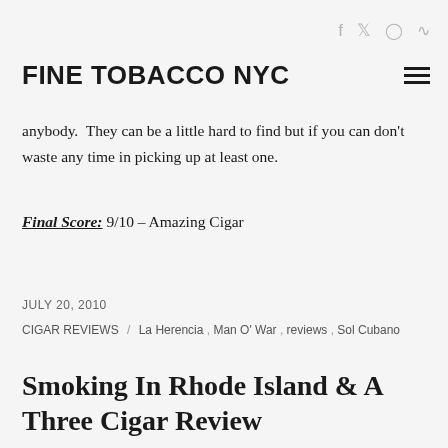FINE TOBACCO NYC
anybody.  They can be a little hard to find but if you can don't waste any time in picking up at least one.
Final Score: 9/10 – Amazing Cigar
JULY 20, 2010
CIGAR REVIEWS / La Herencia , Man O' War , reviews , Sol Cubano
Smoking In Rhode Island & A Three Cigar Review